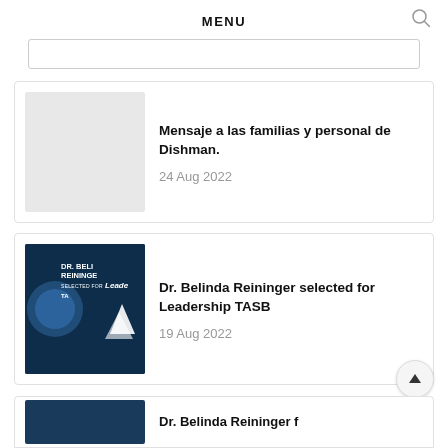MENU
Mensaje a las familias y personal de Dishman.
24 Aug 2022
Dr. Belinda Reininger selected for Leadership TASB
19 Aug 2022